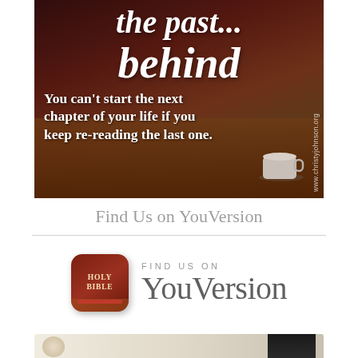[Figure (photo): Inspirational quote image showing a woman in red reading a book at a table with a coffee cup. Dark overlay with white text reading 'the past... behind' in script and 'You can't start the next chapter of your life if you keep re-reading the last one.' in bold serif. Watermark: www.christyjohnson.org]
Find Us on YouVersion
[Figure (logo): YouVersion Bible app logo and branding. Shows the Holy Bible app icon (dark red rounded square with gold text HOLY BIBLE) next to the text 'FIND US ON YouVersion'.]
[Figure (photo): Partial bottom strip showing beginning of another image, cropped at page bottom.]